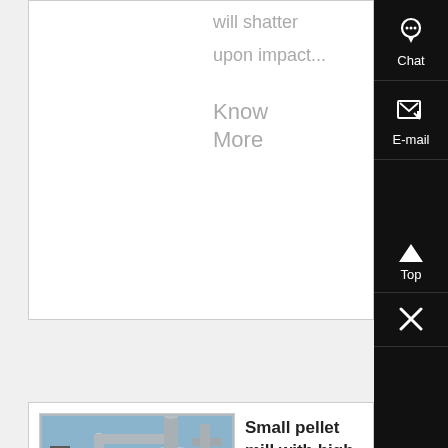will shatter upon impact...
Know More
[Figure (photo): Industrial pellet mill machinery – large white cylindrical metal structures with pipes and scaffolding against a blue sky]
Small pellet mill with high quality for sale
Small pellet mill makes biomass homeuse pellets with low production costsGet the small pellet